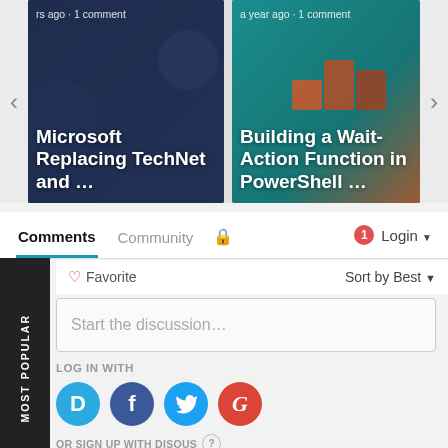[Figure (screenshot): Carousel card: Microsoft Replacing TechNet and ... - dark blue background with keyboard imagery, metadata: 'rs ago · 1 comment']
[Figure (screenshot): Carousel card: Building a Wait-Action Function in PowerShell ... - teal/orange background with figure standing on blocks, metadata: 'a year ago · 1 comment']
Comments
Community
Login
♡ Favorite
Sort by Best
Start the discussion…
LOG IN WITH
MOST POPULAR
OR SIGN UP WITH DISQUS ?
Name